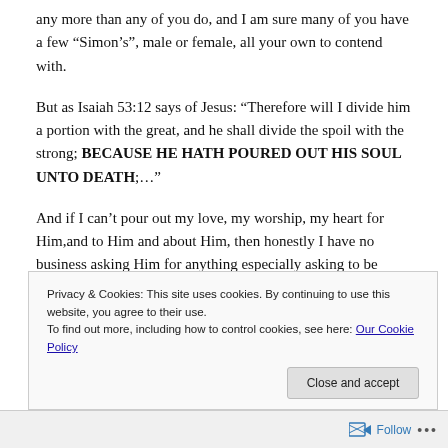any more than any of you do, and I am sure many of you have a few “Simon’s”, male or female, all your own to contend with.
But as Isaiah 53:12 says of Jesus: “Therefore will I divide him a portion with the great, and he shall divide the spoil with the strong; BECAUSE HE HATH POURED OUT HIS SOUL UNTO DEATH;…”
And if I can’t pour out my love, my worship, my heart for Him,and to Him and about Him, then honestly I have no business asking Him for anything especially asking to be
Privacy & Cookies: This site uses cookies. By continuing to use this website, you agree to their use.
To find out more, including how to control cookies, see here: Our Cookie Policy
Close and accept
Follow